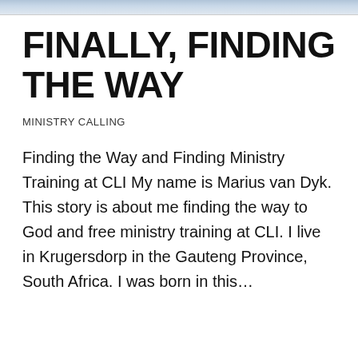[Figure (photo): Partial image strip at top of page, appears to be a cropped photograph]
FINALLY, FINDING THE WAY
MINISTRY CALLING
Finding the Way and Finding Ministry Training at CLI My name is Marius van Dyk. This story is about me finding the way to God and free ministry training at CLI. I live in Krugersdorp in the Gauteng Province, South Africa. I was born in this…